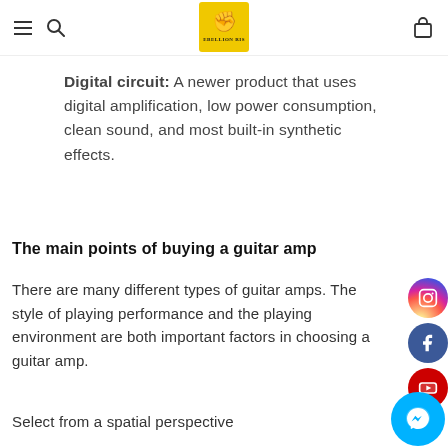[Navigation bar with hamburger menu, search icon, logo, and bag icon]
Digital circuit: A newer product that uses digital amplification, low power consumption, clean sound, and most built-in synthetic effects.
The main points of buying a guitar amp
There are many different types of guitar amps. The style of playing performance and the playing environment are both important factors in choosing a guitar amp.
Select from a spatial perspective